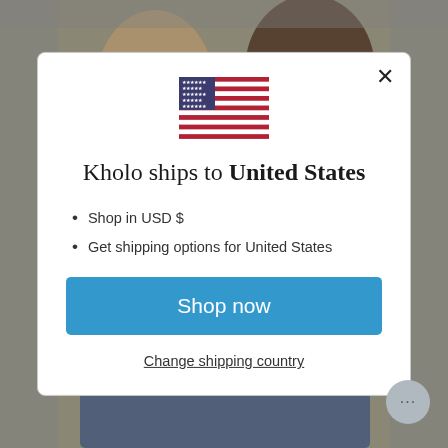[Figure (photo): Background photo of two people, partially visible behind a modal dialog]
[Figure (illustration): US flag emoji/icon displayed at the top of the modal]
Kholo ships to United States
Shop in USD $
Get shipping options for United States
Shop now
Change shipping country